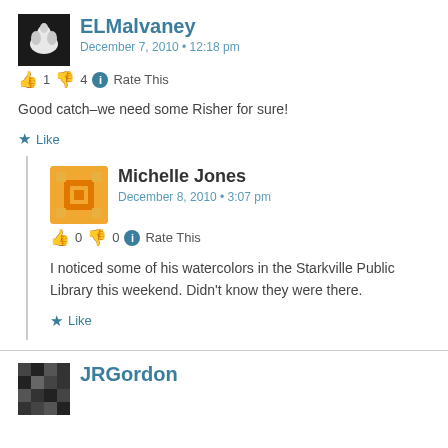ELMalvaney
December 7, 2010 • 12:18 pm
👍 1 👎 4 ℹ Rate This
Good catch–we need some Risher for sure!
★ Like
Michelle Jones
December 8, 2010 • 3:07 pm
👍 0 👎 0 ℹ Rate This
I noticed some of his watercolors in the Starkville Public Library this weekend. Didn't know they were there.
★ Like
JRGordon